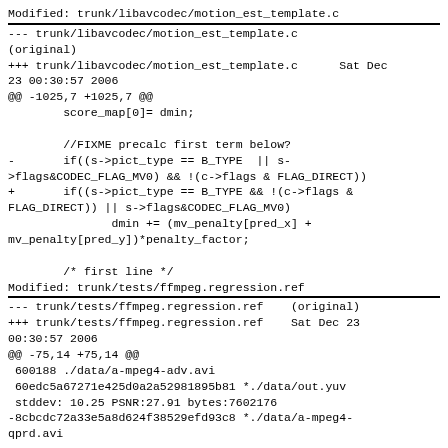Modified: trunk/libavcodec/motion_est_template.c
======================================================
--- trunk/libavcodec/motion_est_template.c
(original)
+++ trunk/libavcodec/motion_est_template.c      Sat Dec
23 00:30:57 2006
@@ -1025,7 +1025,7 @@
        score_map[0]= dmin;

        //FIXME precalc first term below?
-       if((s->pict_type == B_TYPE  || s-
>flags&CODEC_FLAG_MV0) && !(c->flags & FLAG_DIRECT))
+       if((s->pict_type == B_TYPE && !(c->flags &
FLAG_DIRECT)) || s->flags&CODEC_FLAG_MV0)
               dmin += (mv_penalty[pred_x] +
mv_penalty[pred_y])*penalty_factor;

        /* first line */
Modified: trunk/tests/ffmpeg.regression.ref
======================================================
--- trunk/tests/ffmpeg.regression.ref    (original)
+++ trunk/tests/ffmpeg.regression.ref    Sat Dec 23
00:30:57 2006
@@ -75,14 +75,14 @@
 600188 ./data/a-mpeg4-adv.avi
 60edc5a67271e425d0a2a52981895b81 *./data/out.yuv
 stddev: 10.25 PSNR:27.91 bytes:7602176
-8cbcdc72a33e5a8d624f38529efd93c8 *./data/a-mpeg4-
qprd.avi